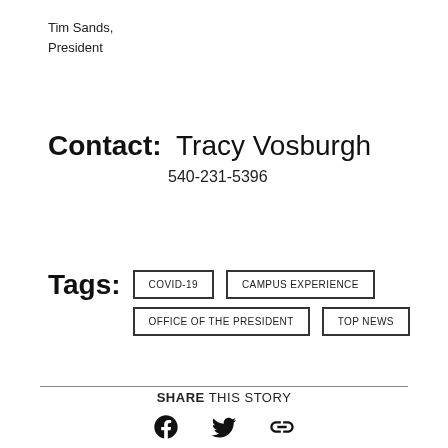Tim Sands,
President
Contact: Tracy Vosburgh
540-231-5396
Tags: COVID-19  CAMPUS EXPERIENCE  OFFICE OF THE PRESIDENT  TOP NEWS
SHARE THIS STORY